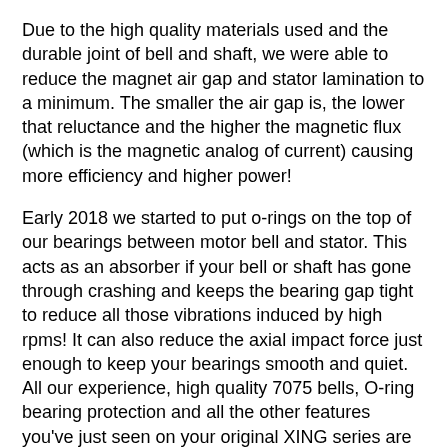Due to the high quality materials used and the durable joint of bell and shaft, we were able to reduce the magnet air gap and stator lamination to a minimum. The smaller the air gap is, the lower that reluctance and the higher the magnetic flux (which is the magnetic analog of current) causing more efficiency and higher power!
Early 2018 we started to put o-rings on the top of our bearings between motor bell and stator. This acts as an absorber if your bell or shaft has gone through crashing and keeps the bearing gap tight to reduce all those vibrations induced by high rpms! It can also reduce the axial impact force just enough to keep your bearings smooth and quiet. All our experience, high quality 7075 bells, O-ring bearing protection and all the other features you've just seen on your original XING series are still inbuilt in a new shape and design!
The new MOTOR XIN2 X1404 designed for ultralight toothpick build, that micro drone change FPV in nowadays.